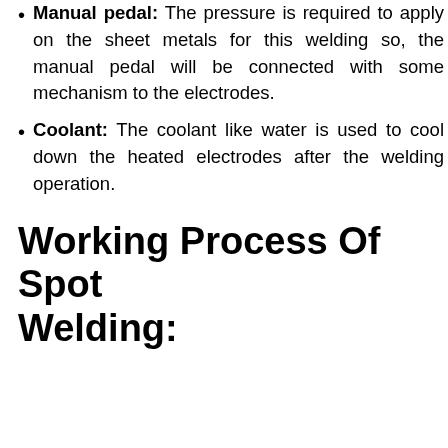Manual pedal: The pressure is required to apply on the sheet metals for this welding so, the manual pedal will be connected with some mechanism to the electrodes.
Coolant: The coolant like water is used to cool down the heated electrodes after the welding operation.
Working Process Of Spot Welding: